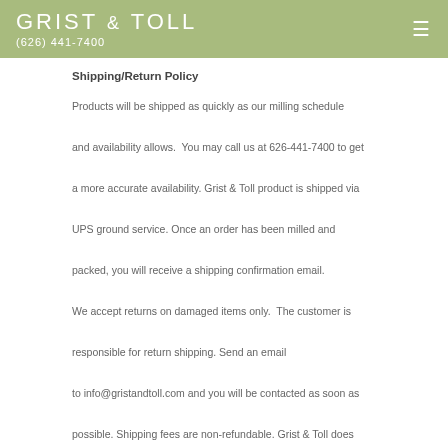GRIST & TOLL (626) 441-7400
Shipping/Return Policy
Products will be shipped as quickly as our milling schedule and availability allows. You may call us at 626-441-7400 to get a more accurate availability. Grist & Toll product is shipped via UPS ground service. Once an order has been milled and packed, you will receive a shipping confirmation email. We accept returns on damaged items only. The customer is responsible for return shipping. Send an email to info@gristandtoll.com and you will be contacted as soon as possible. Shipping fees are non-refundable. Grist & Toll does not accept any responsibility for products damaged or delayed in transit.